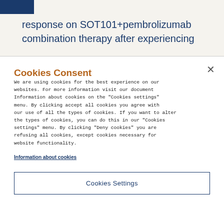response on SOT101+pembrolizumab combination therapy after experiencing
Cookies Consent
We are using cookies for the best experience on our websites. For more information visit our document Information about cookies on the "Cookies settings" menu. By clicking accept all cookies you agree with our use of all the types of cookies. If you want to alter the types of cookies, you can do this in our "Cookies settings" menu. By clicking "Deny cookies" you are refusing all cookies, except cookies necessary for website functionality.
Information about cookies
Cookies Settings